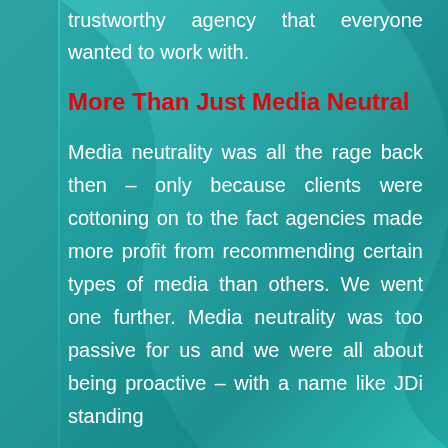trustworthy agency that everyone wanted to work with.
More Than Just Media Neutral
Media neutrality was all the rage back then – only because clients were cottoning on to the fact agencies made more profit from recommending certain types of media than others. We went one further. Media neutrality was too passive for us and we were all about being proactive – with a name like JDi standing